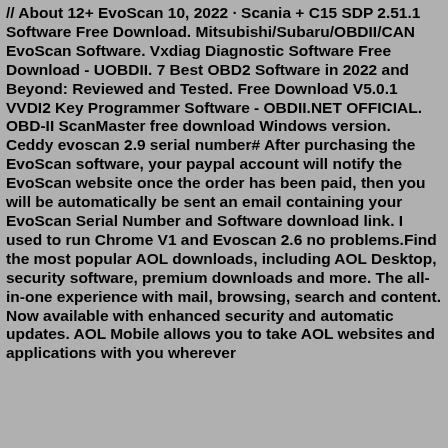// About 12+ EvoScan 10, 2022 · Scania + C15 SDP 2.51.1 Software Free Download. Mitsubishi/Subaru/OBDII/CAN EvoScan Software. Vxdiag Diagnostic Software Free Download - UOBDII. 7 Best OBD2 Software in 2022 and Beyond: Reviewed and Tested. Free Download V5.0.1 VVDI2 Key Programmer Software - OBDII.NET OFFICIAL. OBD-II ScanMaster free download Windows version. Ceddy evoscan 2.9 serial number# After purchasing the EvoScan software, your paypal account will notify the EvoScan website once the order has been paid, then you will be automatically be sent an email containing your EvoScan Serial Number and Software download link. I used to run Chrome V1 and Evoscan 2.6 no problems.Find the most popular AOL downloads, including AOL Desktop, security software, premium downloads and more. The all-in-one experience with mail, browsing, search and content. Now available with enhanced security and automatic updates. AOL Mobile allows you to take AOL websites and applications with you wherever